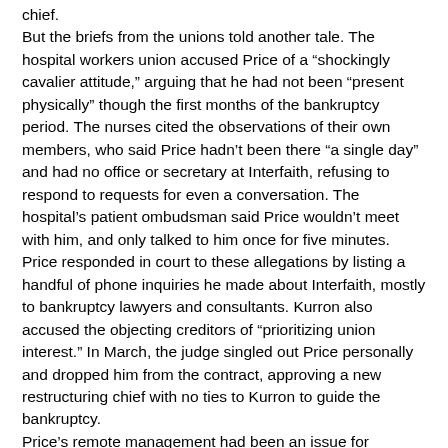chief. But the briefs from the unions told another tale. The hospital workers union accused Price of a “shockingly cavalier attitude,” arguing that he had not been “present physically” though the first months of the bankruptcy period. The nurses cited the observations of their own members, who said Price hadn’t been there “a single day” and had no office or secretary at Interfaith, refusing to respond to requests for even a conversation. The hospital’s patient ombudsman said Price wouldn’t meet with him, and only talked to him once for five minutes. Price responded in court to these allegations by listing a handful of phone inquiries he made about Interfaith, mostly to bankruptcy lawyers and consultants. Kurron also accused the objecting creditors of “prioritizing union interest.” In March, the judge singled out Price personally and dropped him from the contract, approving a new restructuring chief with no ties to Kurron to guide the bankruptcy. Price’s remote management had been an issue for decades – at least since 1999, when Newsday reported that his claim he “spent very little time away from Interfaith” was “flatly contradicted by multiple sources.” Anthony Kovner, an NYU